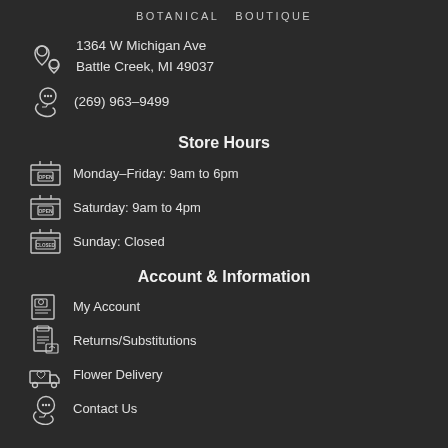BOTANICAL BOUTIQUE
1364 W Michigan Ave
Battle Creek, MI 49037
(269) 963-9499
Store Hours
Monday-Friday: 9am to 6pm
Saturday: 9am to 4pm
Sunday: Closed
Account & Information
My Account
Returns/Substitutions
Flower Delivery
Contact Us